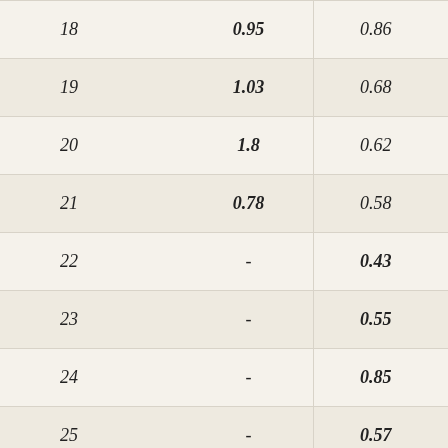| 18 | 0.95 | 0.86 |
| 19 | 1.03 | 0.68 |
| 20 | 1.8 | 0.62 |
| 21 | 0.78 | 0.58 |
| 22 | - | 0.43 |
| 23 | - | 0.55 |
| 24 | - | 0.85 |
| 25 | - | 0.57 |